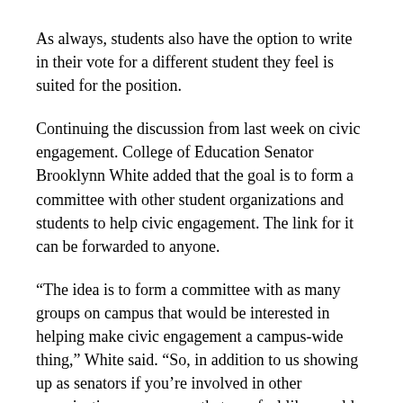As always, students also have the option to write in their vote for a different student they feel is suited for the position.
Continuing the discussion from last week on civic engagement. College of Education Senator Brooklynn White added that the goal is to form a committee with other student organizations and students to help civic engagement. The link for it can be forwarded to anyone.
“The idea is to form a committee with as many groups on campus that would be interested in helping make civic engagement a campus-wide thing,” White said. “So, in addition to us showing up as senators if you’re involved in other organizations on campus that you feel like would be passionate about working as a group to help civic engagement we’d be happy to extend the